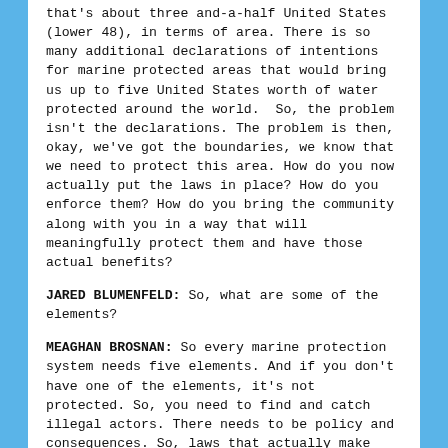that's about three and-a-half United States (lower 48), in terms of area. There is so many additional declarations of intentions for marine protected areas that would bring us up to five United States worth of water protected around the world.  So, the problem isn't the declarations. The problem is then, okay, we've got the boundaries, we know that we need to protect this area. How do you now actually put the laws in place? How do you enforce them? How do you bring the community along with you in a way that will meaningfully protect them and have those actual benefits?
JARED BLUMENFELD: So, what are some of the elements?
MEAGHAN BROSNAN: So every marine protection system needs five elements. And if you don't have one of the elements, it's not protected. So, you need to find and catch illegal actors. There needs to be policy and consequences. So, laws that actually make illegal fishing illegal and consequences for acting illegally. You need to have the community engaged, and if not, disclaimer to the...